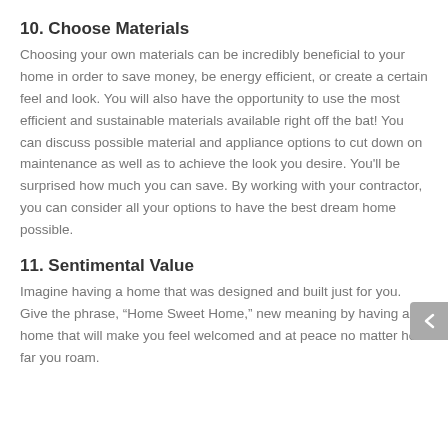10. Choose Materials
Choosing your own materials can be incredibly beneficial to your home in order to save money, be energy efficient, or create a certain feel and look. You will also have the opportunity to use the most efficient and sustainable materials available right off the bat! You can discuss possible material and appliance options to cut down on maintenance as well as to achieve the look you desire. You’ll be surprised how much you can save. By working with your contractor, you can consider all your options to have the best dream home possible.
11. Sentimental Value
Imagine having a home that was designed and built just for you. Give the phrase, “Home Sweet Home,” new meaning by having a home that will make you feel welcomed and at peace no matter how far you roam.